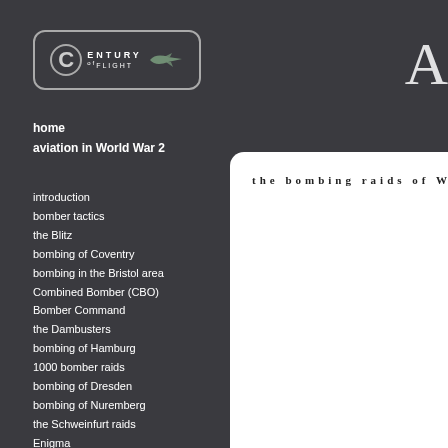[Figure (logo): Century of Flight logo with circular C emblem and airplane, in a rounded rectangle border]
A
home
aviation in World War 2
introduction
bomber tactics
the Blitz
bombing of Coventry
bombing in the Bristol area
Combined Bomber (CBO)
Bomber Command
the Dambusters
bombing of Hamburg
1000 bomber raids
bombing of Dresden
bombing of Nuremberg
the Schweinfurt raids
Enigma
German Night Fighters
the Pathfinders
Soviet bombing raids
the bombing raids of W